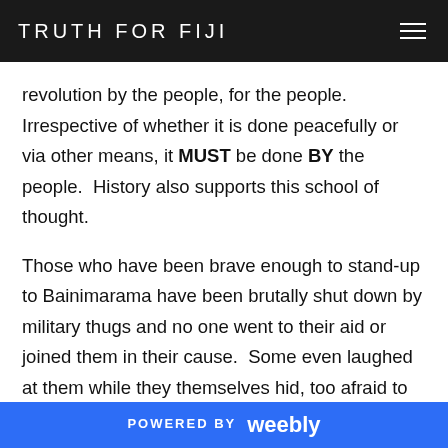TRUTH FOR FIJI
revolution by the people, for the people. Irrespective of whether it is done peacefully or via other means, it MUST be done BY the people.  History also supports this school of thought.
Those who have been brave enough to stand-up to Bainimarama have been brutally shut down by military thugs and no one went to their aid or joined them in their cause.  Some even laughed at them while they themselves hid, too afraid to do anything. Thousands of warriors and supporters stood by and watched, unsure of what to do, waiting for some one to lead them by the
POWERED BY weebly